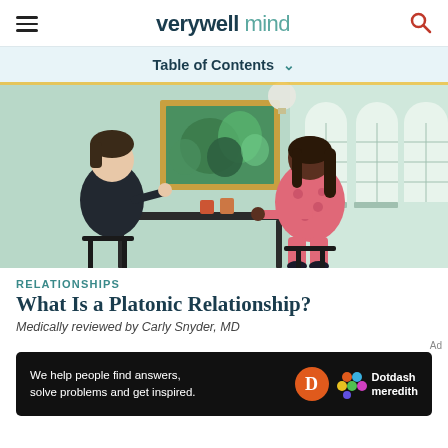verywell mind
Table of Contents
[Figure (illustration): Illustration of two people sitting at a table having a conversation in a cafe or room with arched windows and a framed painting on the wall. One person is pale with dark hair wearing black, the other is dark-skinned with long hair wearing a pink floral outfit.]
RELATIONSHIPS
What Is a Platonic Relationship?
Medically reviewed by Carly Snyder, MD
We help people find answers, solve problems and get inspired.
[Figure (logo): Dotdash Meredith logo with orange D circle and colorful hexagon pattern]